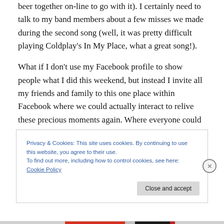beer together on-line to go with it). I certainly need to talk to my band members about a few misses we made during the second song (well, it was pretty difficult playing Coldplay's In My Place, what a great song!).
What if I don't use my Facebook profile to show people what I did this weekend, but instead I invite all my friends and family to this one place within Facebook where we could actually interact to relive these precious moments again. Where everyone could not just observe but add to that experience.
Privacy & Cookies: This site uses cookies. By continuing to use this website, you agree to their use.
To find out more, including how to control cookies, see here: Cookie Policy